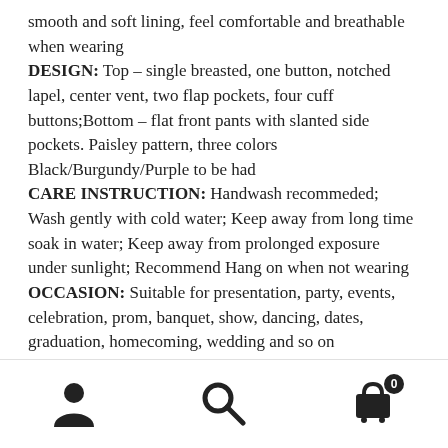smooth and soft lining, feel comfortable and breathable when wearing
DESIGN: Top – single breasted, one button, notched lapel, center vent, two flap pockets, four cuff buttons;Bottom – flat front pants with slanted side pockets. Paisley pattern, three colors Black/Burgundy/Purple to be had
CARE INSTRUCTION: Handwash recommeded; Wash gently with cold water; Keep away from long time soak in water; Keep away from prolonged exposure under sunlight; Recommend Hang on when not wearing
OCCASION: Suitable for presentation, party, events, celebration, prom, banquet, show, dancing, dates, graduation, homecoming, wedding and so on
PACKAGE INCLUDES: 1*Blazer + 1*Pants. [Items are slightly smaller than expected. If you have any questions
[Figure (infographic): Bottom navigation bar with three icons: user/account icon on the left, search/magnifying glass icon in the center, and a shopping cart icon with badge showing '0' on the right.]